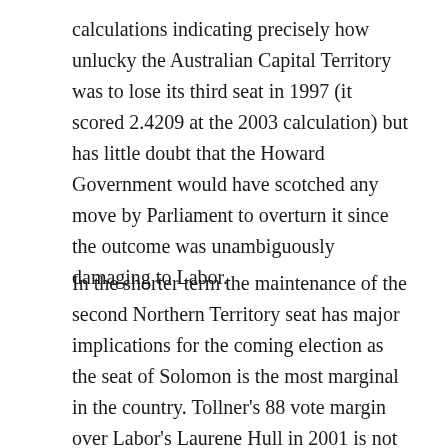calculations indicating precisely how unlucky the Australian Capital Territory was to lose its third seat in 1997 (it scored 2.4209 at the 2003 calculation) but has little doubt that the Howard Government would have scotched any move by Parliament to overturn it since the outcome was unambiguously damaging to Labor.
In the shorter term the maintenance of the second Northern Territory seat has major implications for the coming election as the seat of Solomon is the most marginal in the country. Tollner's 88 vote margin over Labor's Laurene Hull in 2001 is not the only reason he is lucky to be in parliament. Elements within